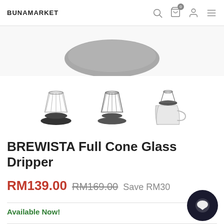BUNAMARKET
[Figure (photo): Partial view of a glass cone dripper from above, showing the dark circular base/rim against white background]
[Figure (photo): Three product thumbnail images: (1) clear glass full cone dripper with dark base, (2) same dripper in grey/dark tone, (3) dripper set with glass carafe/server]
BREWISTA Full Cone Glass Dripper
RM139.00 RM169.00 Save RM30
Available Now!